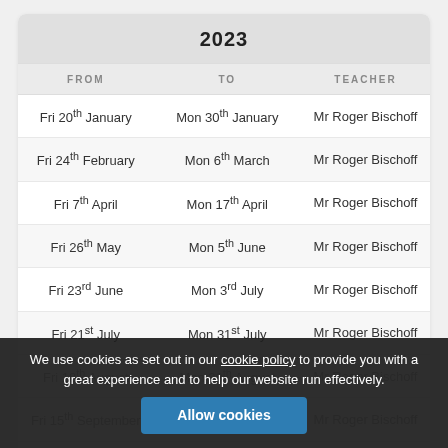| FROM | TO | TEACHER |
| --- | --- | --- |
| Fri 20th January | Mon 30th January | Mr Roger Bischoff |
| Fri 24th February | Mon 6th March | Mr Roger Bischoff |
| Fri 7th April | Mon 17th April | Mr Roger Bischoff |
| Fri 26th May | Mon 5th June | Mr Roger Bischoff |
| Fri 23rd June | Mon 3rd July | Mr Roger Bischoff |
| Fri 21st July | Mon 31st July | Mr Roger Bischoff |
| Fri 18th August | Mon 28th August | Mr Roger Bischoff |
| Fri 15th September | Mon 25th September | Mr Roger Bischoff |
| Fri 20th October | Mon 30th October | Mr Roger Bischoff |
We use cookies as set out in our cookie policy to provide you with a great experience and to help our website run effectively.